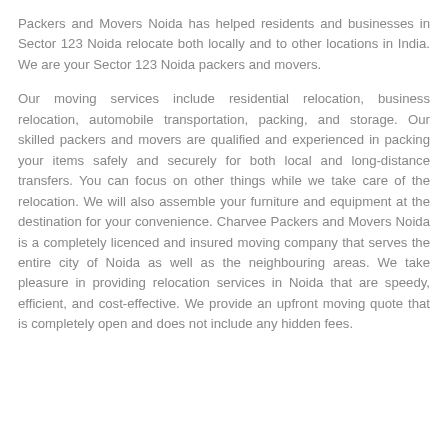Packers and Movers Noida has helped residents and businesses in Sector 123 Noida relocate both locally and to other locations in India. We are your Sector 123 Noida packers and movers.
Our moving services include residential relocation, business relocation, automobile transportation, packing, and storage. Our skilled packers and movers are qualified and experienced in packing your items safely and securely for both local and long-distance transfers. You can focus on other things while we take care of the relocation. We will also assemble your furniture and equipment at the destination for your convenience. Charvee Packers and Movers Noida is a completely licenced and insured moving company that serves the entire city of Noida as well as the neighbouring areas. We take pleasure in providing relocation services in Noida that are speedy, efficient, and cost-effective. We provide an upfront moving quote that is completely open and does not include any hidden fees.